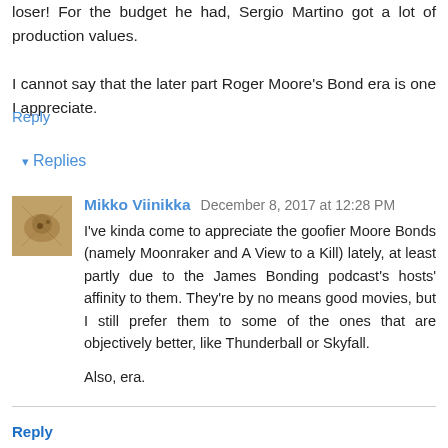loser! For the budget he had, Sergio Martino got a lot of production values.
I cannot say that the later part Roger Moore's Bond era is one I appreciate.
Reply
▾ Replies
Mikko Viinikka December 8, 2017 at 12:28 PM
I've kinda come to appreciate the goofier Moore Bonds (namely Moonraker and A View to a Kill) lately, at least partly due to the James Bonding podcast's hosts' affinity to them. They're by no means good movies, but I still prefer them to some of the ones that are objectively better, like Thunderball or Skyfall.
Also, era.
Reply